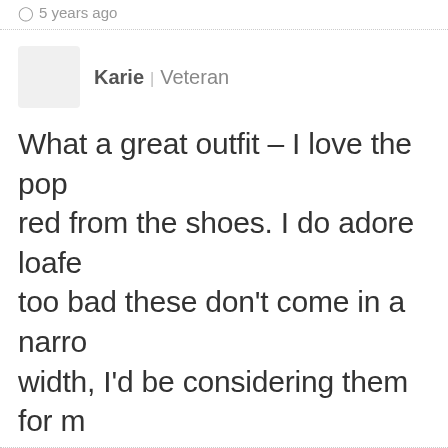5 years ago
Karie | Veteran
What a great outfit – I love the pop red from the shoes. I do adore loafe too bad these don't come in a narrow width, I'd be considering them for m
5 years ago